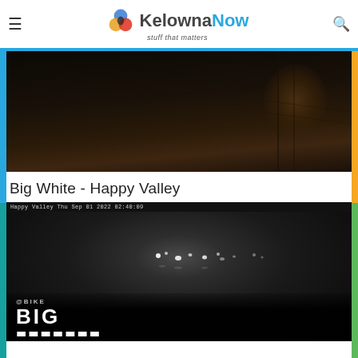KelownaNow - stuff that matters
[Figure (photo): Dark night-time camera image of a road or trail area, showing some terrain and fencing in very low light conditions]
Big White - Happy Valley
[Figure (photo): Black and white night-vision security camera image of Happy Valley at Big White, timestamped Thu Sep 01 2022 02:40:09, showing lights in the distance on a dark background. The Big White Bike logo appears at the bottom overlay.]